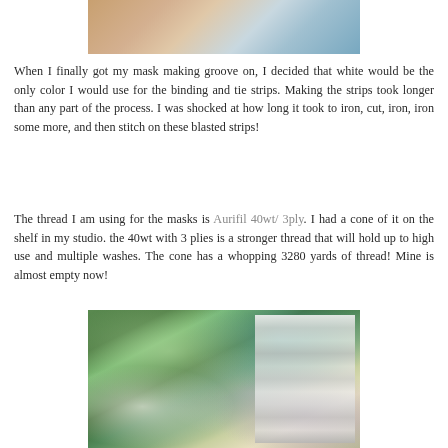[Figure (photo): Top portion of a person wearing a white face mask, cropped to show neck/chin area, with colorful fabric rolls visible in the background]
When I finally got my mask making groove on, I decided that white would be the only color I would use for the binding and tie strips. Making the strips took longer than any part of the process. I was shocked at how long it took to iron, cut, iron, iron some more, and then stitch on these blasted strips!
The thread I am using for the masks is Aurifil 40wt/ 3ply. I had a cone of it on the shelf in my studio. the 40wt with 3 plies is a stronger thread that will hold up to high use and multiple washes. The cone has a whopping 3280 yards of thread! Mine is almost empty now!
[Figure (photo): Top-down view of fabric face masks in various patterned fabrics (green, blue, purple) on a green cutting mat, with white fabric tie strips bundled together]